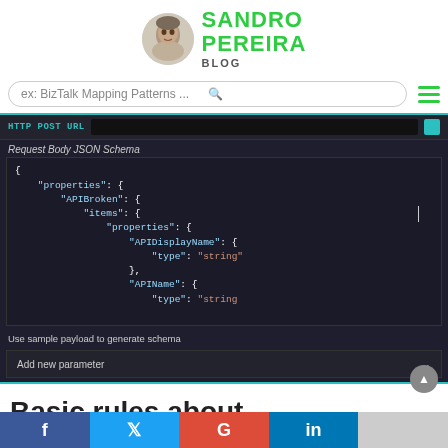SANDRO PEREIRA BLOG
ex: BizTalk Mapping Patterns ...
[Figure (screenshot): Screenshot of a Logic Apps / Azure portal UI showing HTTP POST URL field and Request Body JSON Schema editor with dark theme. The JSON schema shows properties including APIBroken with items containing properties: APIDisplayName (type: string), APIName (type: string). Below is a 'Use sample payload to generate schema' link and 'Add new parameter' dropdown.]
Basic rules about